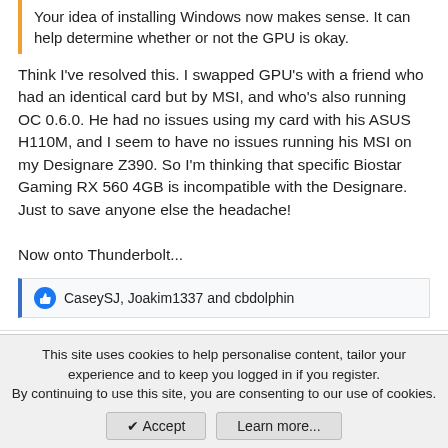Your idea of installing Windows now makes sense. It can help determine whether or not the GPU is okay.
Think I've resolved this. I swapped GPU's with a friend who had an identical card but by MSI, and who's also running OC 0.6.0. He had no issues using my card with his ASUS H110M, and I seem to have no issues running his MSI on my Designare Z390. So I'm thinking that specific Biostar Gaming RX 560 4GB is incompatible with the Designare. Just to save anyone else the headache!

Now onto Thunderbolt...
CaseySJ, Joakim1337 and cbdolphin
jiffyslot
This site uses cookies to help personalise content, tailor your experience and to keep you logged in if you register.
By continuing to use this site, you are consenting to our use of cookies.